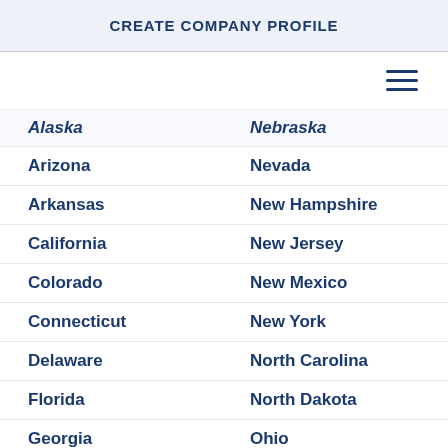CREATE COMPANY PROFILE
Alaska | Nebraska
Arizona | Nevada
Arkansas | New Hampshire
California | New Jersey
Colorado | New Mexico
Connecticut | New York
Delaware | North Carolina
Florida | North Dakota
Georgia | Ohio
Hawaii | Oklahoma
Idaho | Oregon